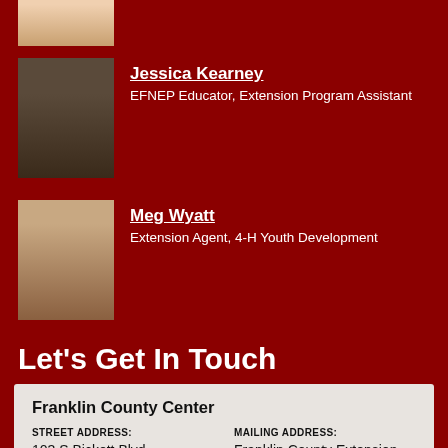[Figure (photo): Partial photo of a person at the top of the page (cropped)]
Jessica Kearney
EFNEP Educator, Extension Program Assistant
[Figure (photo): Photo of Jessica Kearney]
Meg Wyatt
Extension Agent, 4-H Youth Development
[Figure (photo): Photo of Meg Wyatt]
Let's Get In Touch
Franklin County Center
STREET ADDRESS:
103 S Bickett Blvd
Franklin County Extension Center
Louisburg NC 27549
MAILING ADDRESS:
Franklin County Extension Center
103 S Bickett Blvd
Louisburg NC 27549
OPEN MON-FRI: 8A-5P